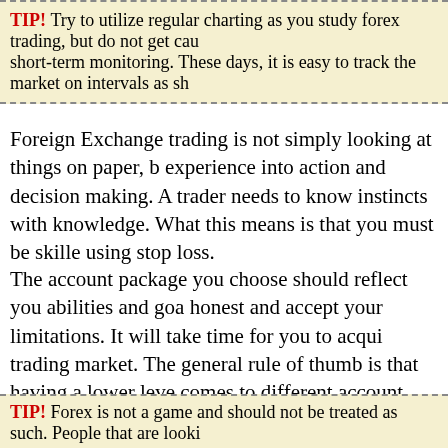TIP! Try to utilize regular charting as you study forex trading, but do not get caught up in short-term monitoring. These days, it is easy to track the market on intervals as sh
Foreign Exchange trading is not simply looking at things on paper, but translating that experience into action and decision making. A trader needs to know how to balance instincts with knowledge. What this means is that you must be skilled at using stop loss.
The account package you choose should reflect you abilities and goals. Be honest and accept your limitations. It will take time for you to acquire knowledge in trading market. The general rule of thumb is that having a lower level of leverage comes to different account types. A mini practice account is generally better for beginners since it has little to no risk. Start out small and carefully learn all the ins and outs of trading.
TIP! Forex is not a game and should not be treated as such. People that are looki